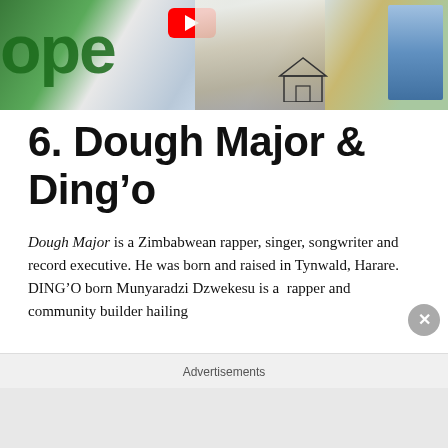[Figure (photo): A colorful photo showing graffiti with green letters 'ope', a person in colorful clothing, a YouTube play button overlay, a small house illustration, and a side photo of a woman in a blue top.]
6. Dough Major & Ding’o
Dough Major is a Zimbabwean rapper, singer, songwriter and record executive. He was born and raised in Tynwald, Harare. DING’O born Munyaradzi Dzwekesu is a  rapper and community builder hailing
Advertisements